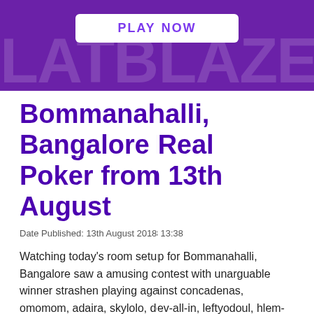[Figure (other): Purple banner with white 'PLAY NOW' button and large semi-transparent text in the background]
Bommanahalli, Bangalore Real Poker from 13th August
Date Published: 13th August 2018 13:38
Watching today's room setup for Bommanahalli, Bangalore saw a amusing contest with unarguable winner strashen playing against concadenas, omomom, adaira, skylolo, dev-all-in, leftyodoul, hlem-legend, taliscure and imtien in a event that lasted 60